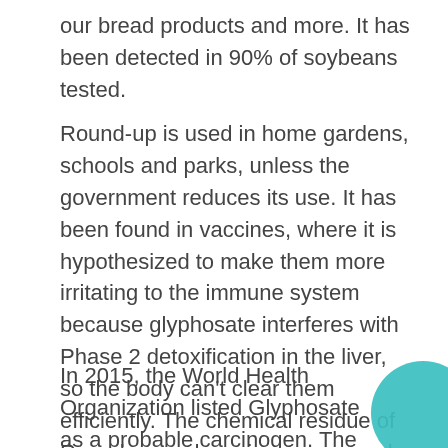our bread products and more. It has been detected in 90% of soybeans tested.
Round-up is used in home gardens, schools and parks, unless the government reduces its use. It has been found in vaccines, where it is hypothesized to make them more irritating to the immune system because glyphosate interferes with Phase 2 detoxification in the liver, so the body can't clear them efficiently. The chemical residue of Round-up ends up in our personal care products and clothing as well.
In 2015, the World Health Organization listed Glyphosate as a probable carcinogen. The connection between Non-Hodgkins lymphoma and Glyphosate exposure was identified and presented in